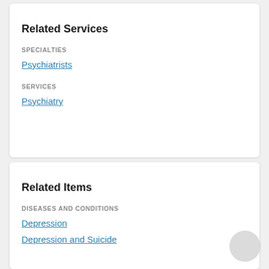Related Services
SPECIALTIES
Psychiatrists
SERVICES
Psychiatry
Related Items
DISEASES AND CONDITIONS
Depression
Depression and Suicide